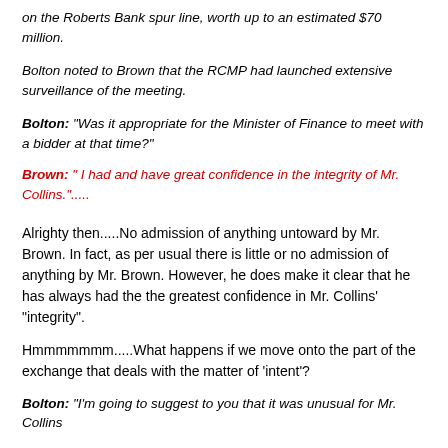on the Roberts Bank spur line, worth up to an estimated $70 million.
Bolton noted to Brown that the RCMP had launched extensive surveillance of the meeting.
Bolton: "Was it appropriate for the Minister of Finance to meet with a bidder at that time?"
Brown: " I had and have great confidence in the integrity of Mr. Collins.".....
Alrighty then.....No admission of anything untoward by Mr. Brown. In fact, as per usual there is little or no admission of anything by Mr. Brown. However, he does make it clear that he has always had the the greatest confidence in Mr. Collins' "integrity".
Hmmmmmmm.....What happens if we move onto the part of the exchange that deals with the matter of 'intent'?
Bolton: "I'm going to suggest to you that it was unusual for Mr. Collins